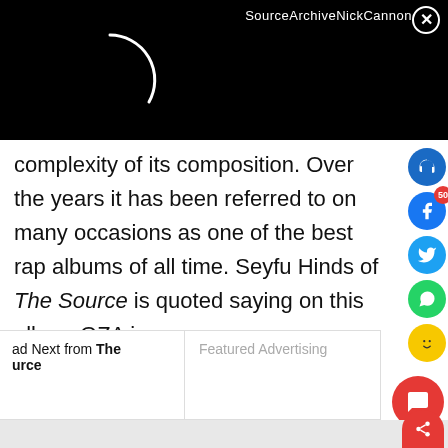SourceArchiveNickCannon ×
[Figure (other): Black video/media loading bar with spinning loader arc in white]
complexity of its composition. Over the years it has been referred to on many occasions as one of the best rap albums of all time. Seyfu Hinds of The Source is quoted saying on this album GZA is:
ad Next from The Source   Featured Advertising